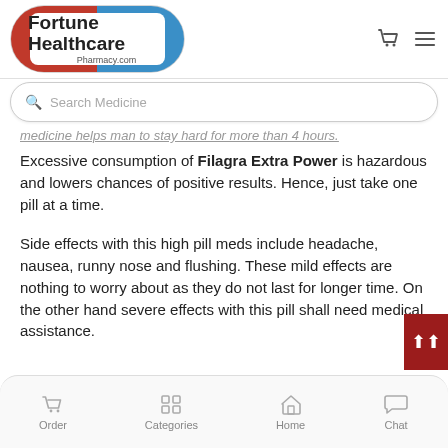[Figure (logo): Fortune Healthcare Pharmacy.com logo — pill-shaped badge with red left half and blue right half, bold black text 'Fortune Healthcare' and smaller 'Pharmacy.com' subtitle]
Search Medicine
medicine helps man to stay hard for more than 4 hours.
Excessive consumption of Filagra Extra Power is hazardous and lowers chances of positive results. Hence, just take one pill at a time.
Side effects with this high pill meds include headache, nausea, runny nose and flushing. These mild effects are nothing to worry about as they do not last for longer time. On the other hand severe effects with this pill shall need medical assistance.
Order | Categories | Home | Chat